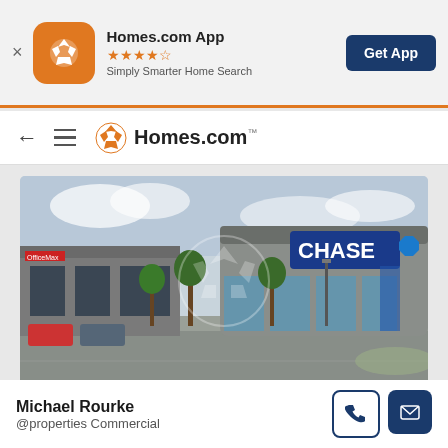[Figure (screenshot): Homes.com app banner with orange icon, 4-star rating, 'Simply Smarter Home Search' subtitle, and 'Get App' button]
[Figure (screenshot): Homes.com website navigation bar with back arrow, hamburger menu, and Homes.com logo]
[Figure (photo): Commercial property photo showing a strip mall with Chase bank branch and other retail stores, parking lot in foreground]
Michael Rourke
@properties Commercial